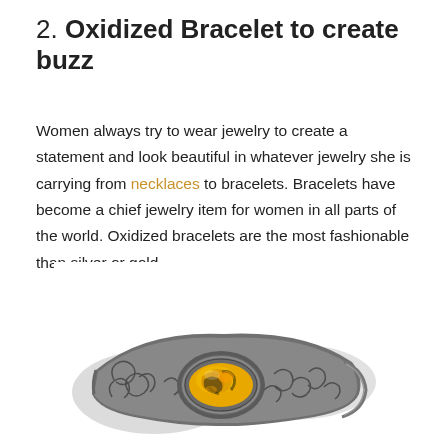2. Oxidized Bracelet to create buzz
Women always try to wear jewelry to create a statement and look beautiful in whatever jewelry she is carrying from necklaces to bracelets. Bracelets have become a chief jewelry item for women in all parts of the world. Oxidized bracelets are the most fashionable than silver or gold.
[Figure (photo): An oxidized silver cuff bracelet featuring an oval bumblebee jasper stone (yellow and black) set in an ornate filigree and scroll-work setting, photographed on a white background.]